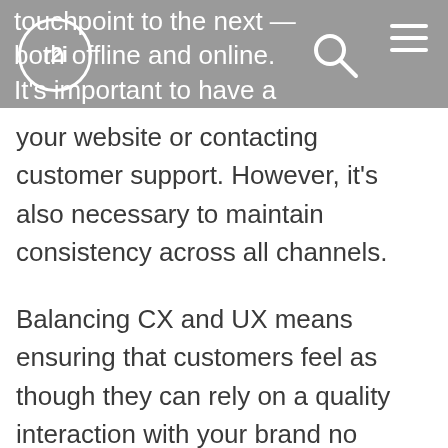touchpoint to the next — both offline and online. It's important to have a strong user-experience across every digital interaction, such as browsing
your website or contacting customer support. However, it's also necessary to maintain consistency across all channels.
Balancing CX and UX means ensuring that customers feel as though they can rely on a quality interaction with your brand no matter where or how they're engaging with you — the two concepts are interconnected and must be executed equally.
A partner who is an expert in both fields will provide end-to-end support while designing, implementing and managing a comprehensive